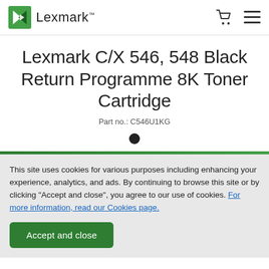Lexmark
Lexmark C/X 546, 548 Black Return Programme 8K Toner Cartridge
Part no.: C546U1KG
This site uses cookies for various purposes including enhancing your experience, analytics, and ads. By continuing to browse this site or by clicking "Accept and close", you agree to our use of cookies. For more information, read our Cookies page.
Accept and close